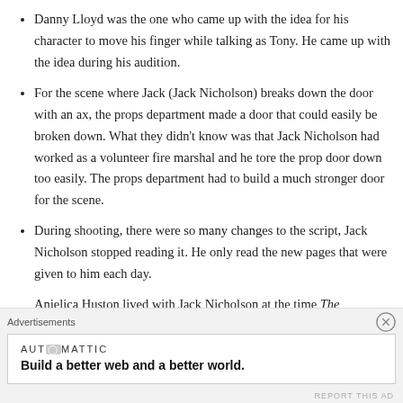Danny Lloyd was the one who came up with the idea for his character to move his finger while talking as Tony. He came up with the idea during his audition.
For the scene where Jack (Jack Nicholson) breaks down the door with an ax, the props department made a door that could easily be broken down. What they didn't know was that Jack Nicholson had worked as a volunteer fire marshal and he tore the prop door down too easily. The props department had to build a much stronger door for the scene.
During shooting, there were so many changes to the script, Jack Nicholson stopped reading it. He only read the new pages that were given to him each day.
Anjelica Huston lived with Jack Nicholson at the time The
Advertisements
AUTOMATTIC — Build a better web and a better world.